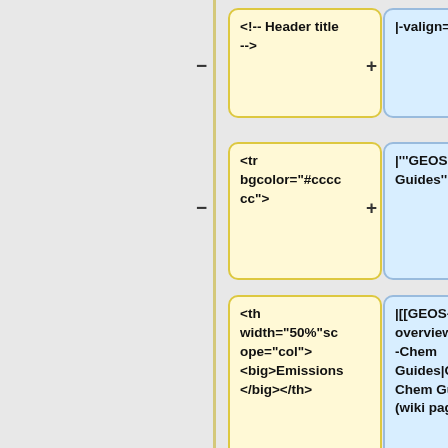[Figure (flowchart): A diff/comparison view showing HTML/wiki code on the left (yellow boxes) and wiki markup on the right (blue boxes), connected by a vertical timeline with minus and plus symbols. Four rows are shown: (1) '<!-- Header title -->' vs '|-valign="top"', (2) '<tr bgcolor="#cccccc">' vs '|'"'"GEOS-Chem Guides'"'"', (3) '<th width="50%"scope="col"><big>Emissions</big></th>' vs '|[[GEOS-Chem overview#GEOS-Chem Guides|GEOS-Chem Guides]] (wiki page)', (4) '<th width="50%"scope="col"><big>Chemistry</big></th>' vs '|Short manuals giving a deeper dive into various GEOS-Chem topics (such as compilers, netCDF, diagnostics,']